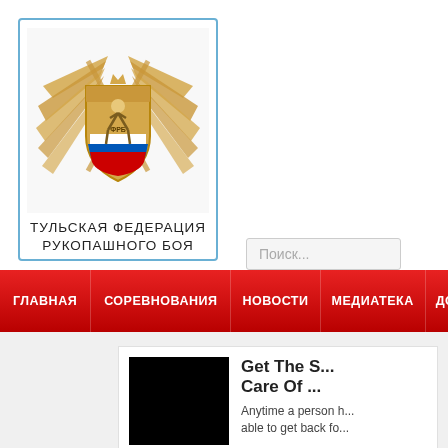[Figure (logo): Tula Federation of Hand-to-Hand Combat emblem — golden shield with winged figure and martial arts imagery, Russian federation badge]
ТУЛЬСКАЯ ФЕДЕРАЦИЯ РУКОПАШНОГО БОЯ
Поиск...
ГЛАВНАЯ | СОРЕВНОВАНИЯ | НОВОСТИ | МЕДИАТЕКА | ДОКУМЕНТ...
[Figure (photo): Black rectangle — article thumbnail image]
Get The S... Care Of ...
Anytime a person h... able to get back fo...